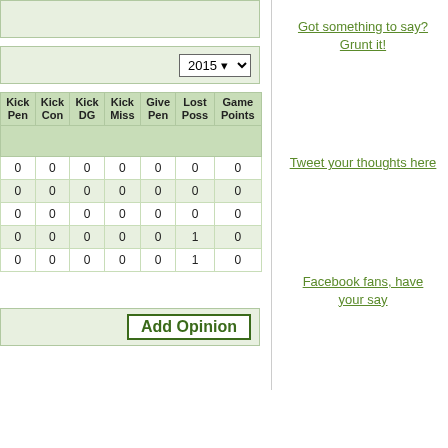| Kick Pen | Kick Con | Kick DG | Kick Miss | Give Pen | Lost Poss | Game Points |
| --- | --- | --- | --- | --- | --- | --- |
| 0 | 0 | 0 | 0 | 0 | 0 | 0 |
| 0 | 0 | 0 | 0 | 0 | 0 | 0 |
| 0 | 0 | 0 | 0 | 0 | 0 | 0 |
| 0 | 0 | 0 | 0 | 0 | 1 | 0 |
0  0  0  0  0  1  0
Add Opinion
Got something to say? Grunt it!
Tweet your thoughts here
Facebook fans, have your say